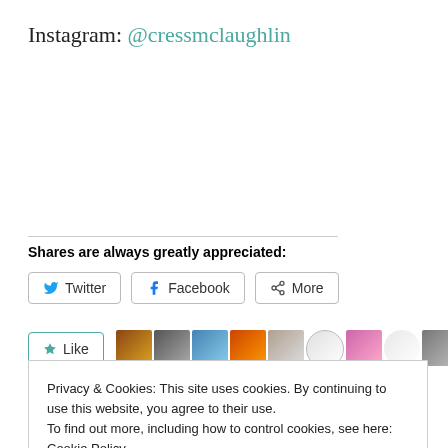Instagram: @cressmclaughlin
Shares are always greatly appreciated:
Twitter  Facebook  More
Like
20 bloggers like this.
Privacy & Cookies: This site uses cookies. By continuing to use this website, you agree to their use.
To find out more, including how to control cookies, see here: Cookie Policy
Close and accept